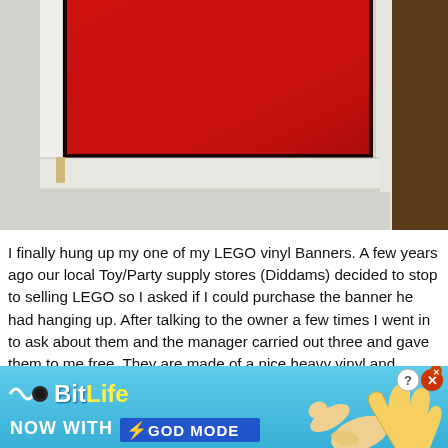[Figure (photo): A red LEGO vinyl banner hung on a white wall near a window frame and brown door trim. The banner is red with black borders, with a white fabric edge visible on the left side and a pencil/rod at the bottom left corner.]
I finally hung up my one of my LEGO vinyl Banners. A few years ago our local Toy/Party supply stores (Diddams) decided to stop to selling LEGO so I asked if I could purchase the banner he had hanging up. After talking to the owner a few times I went in to ask about them and the manager carried out three and gave them to me free. They are made of a nice heavy vinyl and
[Figure (screenshot): BitLife advertisement banner: 'NOW WITH GOD MODE' on a blue gradient background with a pointing hand illustration and close/question buttons.]